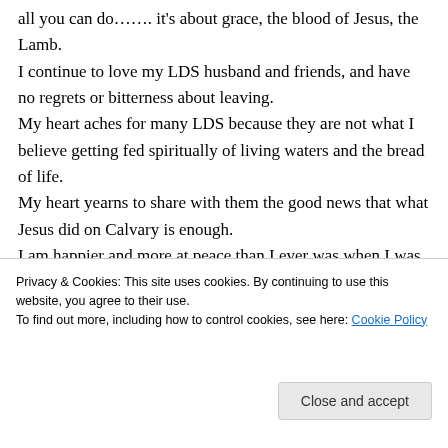all you can do……. it's about grace, the blood of Jesus, the Lamb. I continue to love my LDS husband and friends, and have no regrets or bitterness about leaving. My heart aches for many LDS because they are not what I believe getting fed spiritually of living waters and the bread of life. My heart yearns to share with them the good news that what Jesus did on Calvary is enough. I am happier and more at peace than I ever was when I was LDS, but the burden to share the
Privacy & Cookies: This site uses cookies. By continuing to use this website, you agree to their use. To find out more, including how to control cookies, see here: Cookie Policy
Close and accept
gloria